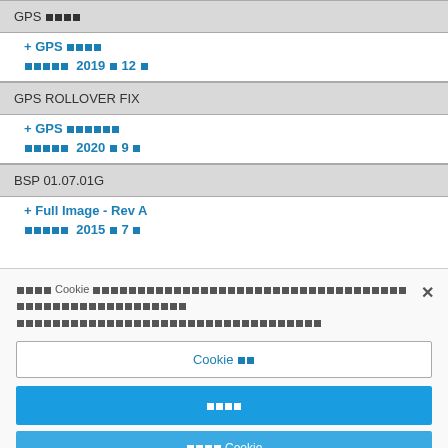GPS □□□□
+ GPS □□□□
□□□□□ 2019 □ 12 □
GPS ROLLOVER FIX
+ GPS □□□□□□
□□□□□ 2020 □ 9 □
BSP 01.07.01G
+ Full Image - Rev A
□□□□□ 2015 □ 7 □
□□□□ Cookie □□□□□□□□□□□□□□□□□□□□□□□□□□□□□□□□□□□□□□□□□□□□□□□□□□□□□□□□□□□□□□□□□□□□□
Cookie □□
□□□□
□□□□ Cookie